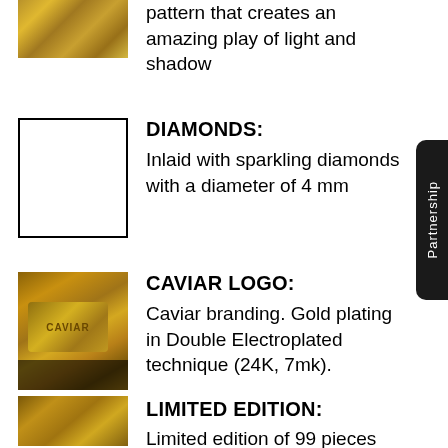[Figure (photo): Gold embossed ornate pattern texture detail - top portion cropped]
Embossed, dynamic, ornate pattern that creates an amazing play of light and shadow
[Figure (photo): White square placeholder image for diamonds feature]
DIAMONDS:
Inlaid with sparkling diamonds with a diameter of 4 mm
[Figure (photo): Gold Caviar logo embossed on black background, gold plated]
CAVIAR LOGO:
Caviar branding. Gold plating in Double Electroplated technique (24K, 7mk).
[Figure (photo): Gold embossed limited edition ornate pattern texture]
LIMITED EDITION:
Limited edition of 99 pieces